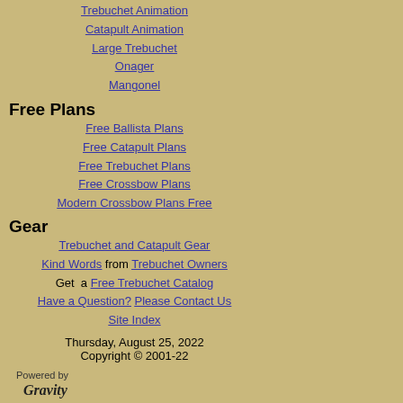Trebuchet Animation
Catapult Animation
Large Trebuchet
Onager
Mangonel
Free Plans
Free Ballista Plans
Free Catapult Plans
Free Trebuchet Plans
Free Crossbow Plans
Modern Crossbow Plans Free
Gear
Trebuchet and Catapult Gear
Kind Words from Trebuchet Owners
Get a Free Trebuchet Catalog
Have a Question? Please Contact Us
Site Index
Thursday, August 25, 2022
Copyright © 2001-22
Powered by Gravity
$12.95 FREE Shipping
Plan # TP2
ADD TO CART
U.S. Orders Only
[Figure (photo): Build a Working Model Roman Catapult book cover with wooden catapult model]
Roman Onager
$12.95 FREE Shipping
Plan # OP1
ADD TO CART
U.S. Orders Only
[Figure (photo): Build a Working Model Roman Torsion Catapult book cover]
Roman Mangonel
$12.95 FREE Shipping
Plan # MR...
ADD TO CART
U.S. Orders Only
[Figure (photo): Build an Archimedes book/product]
[Figure (photo): Trebuchet Plans product]